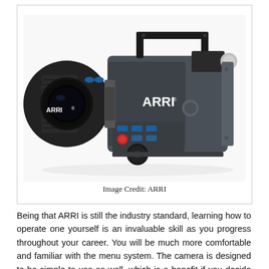[Figure (photo): An ARRI ALEXA professional cinema camera shown in side profile. The camera is dark grey/black with a large lens on the left side branded ARRI, a top handle, viewfinder, and ARRI logo on the camera body. Control buttons visible on the side panel.]
Image Credit: ARRI
Being that ARRI is still the industry standard, learning how to operate one yourself is an invaluable skill as you progress throughout your career. You will be much more comfortable and familiar with the menu system. The camera is designed to be simple to use as well, which is a benefit if you decide to purchase one for yourself.